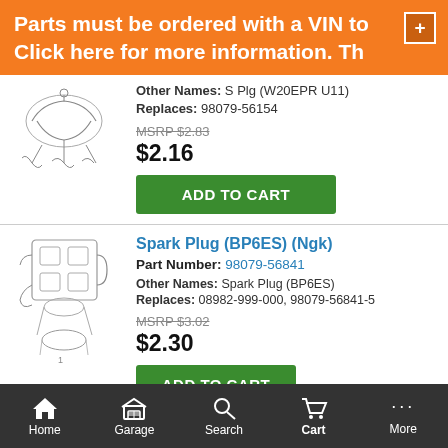Parts must be ordered with a VIN to Click here for more information. Th
Other Names: S Plg (W20EPR U11)
Replaces: 98079-56154
MSRP $2.83
$2.16
ADD TO CART
Spark Plug (BP6ES) (Ngk)
Part Number: 98079-56841
Other Names: Spark Plug (BP6ES)
Replaces: 08982-999-000, 98079-56841-5
MSRP $3.02
$2.30
ADD TO CART
Home  Garage  Search  Cart  More